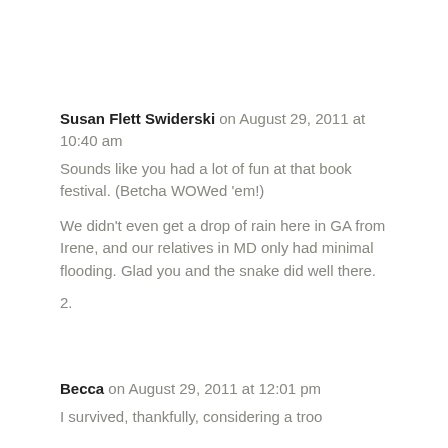Susan Flett Swiderski on August 29, 2011 at 10:40 am
Sounds like you had a lot of fun at that book festival. (Betcha WOWed 'em!)

We didn't even get a drop of rain here in GA from Irene, and our relatives in MD only had minimal flooding. Glad you and the snake did well there.
2.
Becca on August 29, 2011 at 12:01 pm
I survived, thankfully, considering a troo